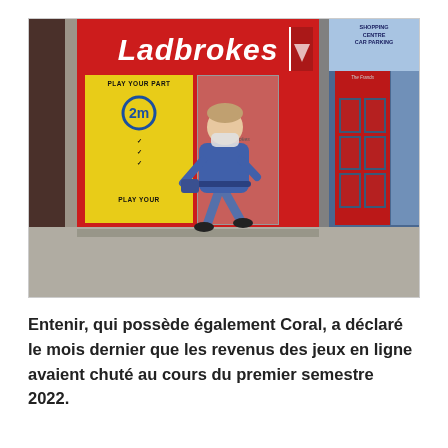[Figure (photo): Street-level photograph of a Ladbrokes betting shop with a bright red facade and sign, yellow 'PLAY YOUR PART' poster in the window, and a woman wearing a face mask and blue outfit walking past on the pavement. To the right is a blue-framed door with red panels. A stone wall is visible on the left.]
Entenir, qui possède également Coral, a déclaré le mois dernier que les revenus des jeux en ligne avaient chuté au cours du premier semestre 2022.